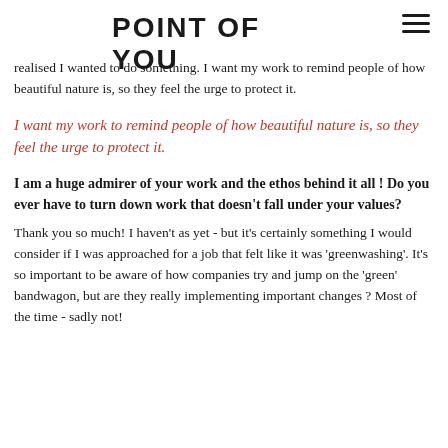POINT OF YOU
realised I wanted to do something. I want my work to remind people of how beautiful nature is, so they feel the urge to protect it.
I want my work to remind people of how beautiful nature is, so they feel the urge to protect it.
I am a huge admirer of your work and the ethos behind it all ! Do you ever have to turn down work that doesn't fall under your values?
Thank you so much! I haven't as yet - but it's certainly something I would consider if I was approached for a job that felt like it was 'greenwashing'. It's so important to be aware of how companies try and jump on the 'green' bandwagon, but are they really implementing important changes ? Most of the time - sadly not!